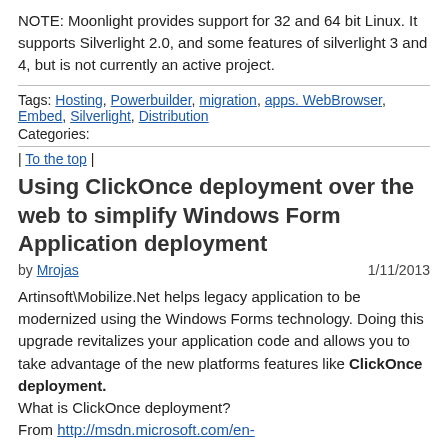NOTE: Moonlight provides support for 32 and 64 bit Linux. It supports Silverlight 2.0, and some features of silverlight 3 and 4, but is not currently an active project.
Tags: Hosting, Powerbuilder, migration, apps. WebBrowser, Embed, Silverlight, Distribution
Categories:
| To the top |
Using ClickOnce deployment over the web to simplify Windows Form Application deployment
by Mrojas  1/11/2013
Artinsoft\Mobilize.Net helps legacy application to be modernized using the Windows Forms technology. Doing this upgrade revitalizes your application code and allows you to take advantage of the new platforms features like ClickOnce deployment. What is ClickOnce deployment? From http://msdn.microsoft.com/en-